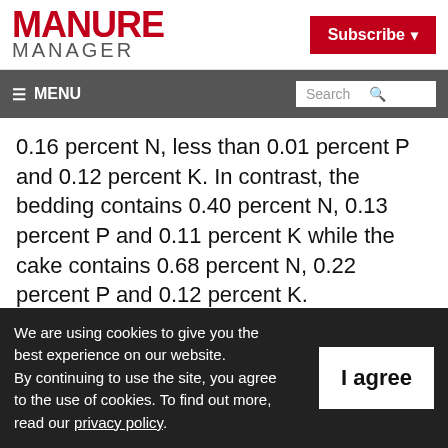MANURE MANAGER
Subscribe
≡ MENU  Search
0.16 percent N, less than 0.01 percent P and 0.12 percent K. In contrast, the bedding contains 0.40 percent N, 0.13 percent P and 0.11 percent K while the cake contains 0.68 percent N, 0.22 percent P and 0.12 percent K.
Melnychuk believes the tea offers tremendous
We are using cookies to give you the best experience on our website.
By continuing to use the site, you agree to the use of cookies. To find out more, read our privacy policy.